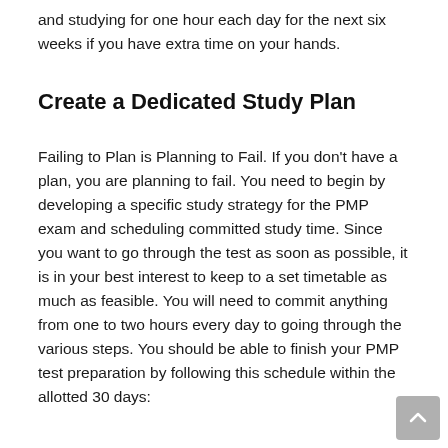and studying for one hour each day for the next six weeks if you have extra time on your hands.
Create a Dedicated Study Plan
Failing to Plan is Planning to Fail. If you don’t have a plan, you are planning to fail. You need to begin by developing a specific study strategy for the PMP exam and scheduling committed study time. Since you want to go through the test as soon as possible, it is in your best interest to keep to a set timetable as much as feasible. You will need to commit anything from one to two hours every day to going through the various steps. You should be able to finish your PMP test preparation by following this schedule within the allotted 30 days: